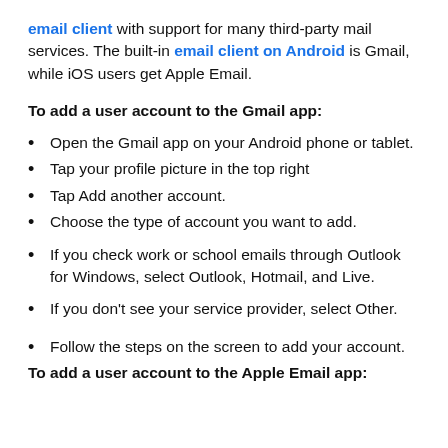email client with support for many third-party mail services. The built-in email client on Android is Gmail, while iOS users get Apple Email.
To add a user account to the Gmail app:
Open the Gmail app on your Android phone or tablet.
Tap your profile picture in the top right
Tap Add another account.
Choose the type of account you want to add.
If you check work or school emails through Outlook for Windows, select Outlook, Hotmail, and Live.
If you don't see your service provider, select Other.
Follow the steps on the screen to add your account.
To add a user account to the Apple Email app: